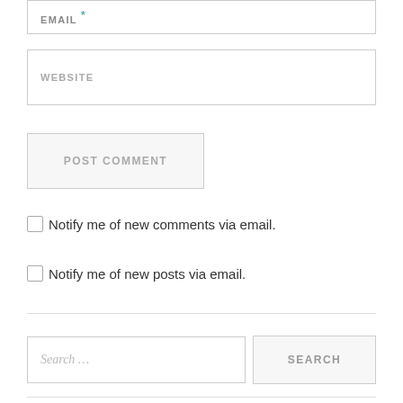EMAIL *
WEBSITE
POST COMMENT
Notify me of new comments via email.
Notify me of new posts via email.
Search …
SEARCH